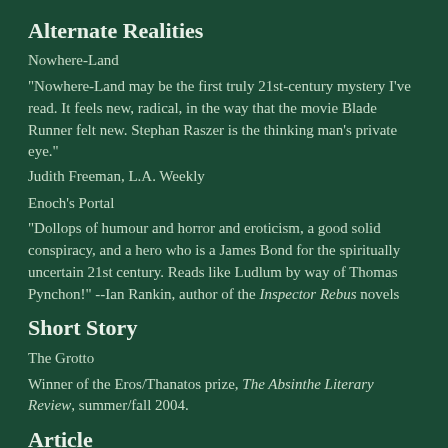Alternate Realities
Nowhere-Land
"Nowhere-Land may be the first truly 21st-century mystery I've read. It feels new, radical, in the way that the movie Blade Runner felt new. Stephan Raszer is the thinking man's private eye."
Judith Freeman, L.A. Weekly
Enoch's Portal
"Dollops of humour and horror and eroticism, a good solid conspiracy, and a hero who is a James Bond for the spiritually uncertain 21st century. Reads like Ludlum by way of Thomas Pynchon!" --Ian Rankin, author of the Inspector Rebus novels
Short Story
The Grotto
Winner of the Eros/Thanatos prize, The Absinthe Literary Review, summer/fall 2004.
Article
Emily Le Corbillo: Profile of a Personage, Haunting...